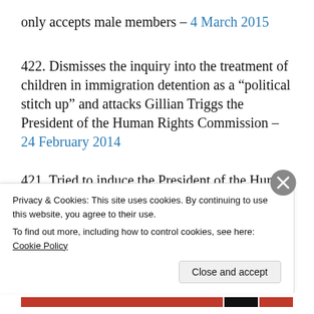only accepts male members – 4 March 2015
422. Dismisses the inquiry into the treatment of children in immigration detention as a “political stitch up” and attacks Gillian Triggs the President of the Human Rights Commission – 24 February 2014
421. Tried to induce the President of the Human
Privacy & Cookies: This site uses cookies. By continuing to use this website, you agree to their use. To find out more, including how to control cookies, see here: Cookie Policy
Close and accept